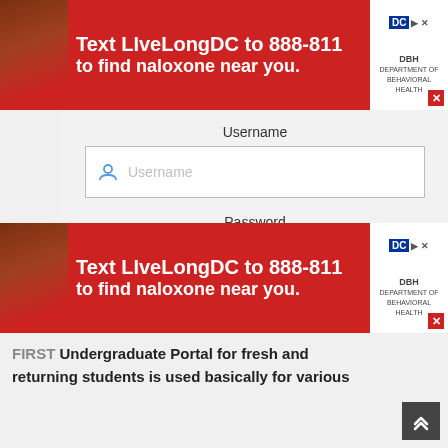[Figure (screenshot): Red advertisement banner at top: Text LiveLongDC to 888-811 to find naloxone near you. DC and DBH logos on right side.]
Username
[Figure (screenshot): Username input field with user icon and placeholder text 'Username']
Password
[Figure (screenshot): Password input field with lock icon and placeholder text 'Password']
Keep me signed in
Forgot password?
[Figure (screenshot): Blue LOGIN button]
[Figure (screenshot): Blue Student button and green Applicant button]
[Figure (screenshot): Red advertisement banner at bottom: Text LiveLongDC to 888-811 to find naloxone near you.]
FIRST Undergraduate Portal for fresh and returning students is used basically for various